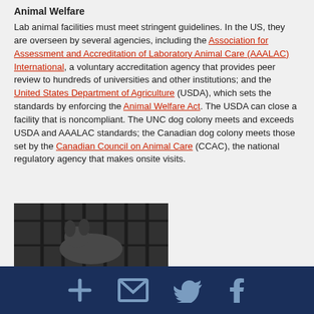Animal Welfare
Lab animal facilities must meet stringent guidelines. In the US, they are overseen by several agencies, including the Association for Assessment and Accreditation of Laboratory Animal Care (AAALAC) International, a voluntary accreditation agency that provides peer review to hundreds of universities and other institutions; and the United States Department of Agriculture (USDA), which sets the standards by enforcing the Animal Welfare Act. The USDA can close a facility that is noncompliant. The UNC dog colony meets and exceeds USDA and AAALAC standards; the Canadian dog colony meets those set by the Canadian Council on Animal Care (CCAC), the national regulatory agency that makes onsite visits.
[Figure (photo): Black and white photograph showing what appears to be a dog or animal behind cage bars in a laboratory animal facility]
Social share icons: add/plus, email, Twitter, Facebook